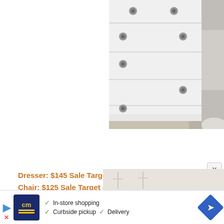[Figure (photo): Close-up photo of a white dresser with metal round knobs, showing multiple drawers. The bottom of the dresser sits on a beige/grey carpet. Part of a room wall and chair visible at right edge.]
Dresser: $145 Sale Target online
Chair: $125 Sale Target online
[Figure (screenshot): Advertisement bar at bottom showing Catalog Manager (cm) logo in dark blue with yellow text, navigation arrows, checkmarks listing: In-store shopping, Curbside pickup, Delivery, and a blue diamond navigation icon.]